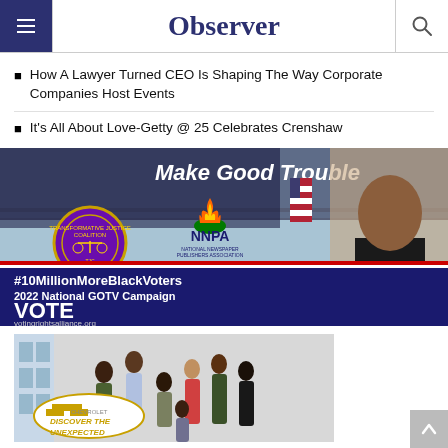Observer
How A Lawyer Turned CEO Is Shaping The Way Corporate Companies Host Events
It's All About Love-Getty @ 25 Celebrates Crenshaw
[Figure (infographic): Make Good Trouble banner with TJC and NNPA logos, John Lewis photo, Edmund Pettus Bridge background. Text: #10MillionMoreBlackVoters 2022 National GOTV Campaign VOTE votingrightsalliance.org]
[Figure (photo): Chevrolet DISCOVER THE UNEXPECTED advertisement showing a group of people (students and adults) in front of a building with Chevrolet logo]